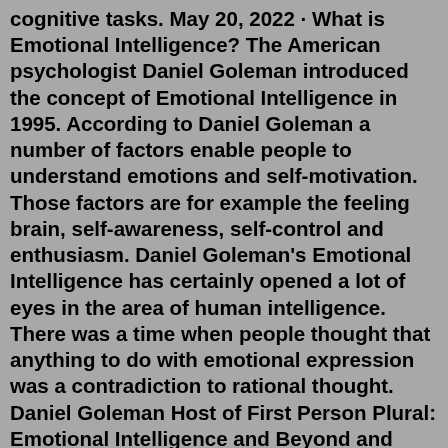cognitive tasks. May 20, 2022 · What is Emotional Intelligence? The American psychologist Daniel Goleman introduced the concept of Emotional Intelligence in 1995. According to Daniel Goleman a number of factors enable people to understand emotions and self-motivation. Those factors are for example the feeling brain, self-awareness, self-control and enthusiasm. Daniel Goleman's Emotional Intelligence has certainly opened a lot of eyes in the area of human intelligence. There was a time when people thought that anything to do with emotional expression was a contradiction to rational thought. Daniel Goleman Host of First Person Plural: Emotional Intelligence and Beyond and Senior Consultant at Goleman Consulting Group Published Jan 12, 2017 + Follow A middle manager for a large retail ...Dec 01, 2001 · Daniel Goleman is usually credited with challenging the traditional view of IQ (intelligence quotient) by drawing together research on how the brain works and developing this to